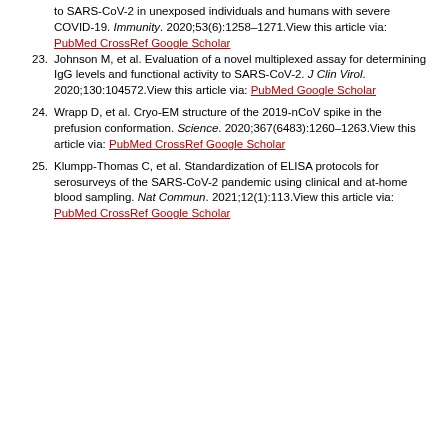to SARS-CoV-2 in unexposed individuals and humans with severe COVID-19. Immunity. 2020;53(6):1258–1271.View this article via: PubMed CrossRef Google Scholar
23. Johnson M, et al. Evaluation of a novel multiplexed assay for determining IgG levels and functional activity to SARS-CoV-2. J Clin Virol. 2020;130:104572.View this article via: PubMed Google Scholar
24. Wrapp D, et al. Cryo-EM structure of the 2019-nCoV spike in the prefusion conformation. Science. 2020;367(6483):1260–1263.View this article via: PubMed CrossRef Google Scholar
25. Klumpp-Thomas C, et al. Standardization of ELISA protocols for serosurveys of the SARS-CoV-2 pandemic using clinical and at-home blood sampling. Nat Commun. 2021;12(1):113.View this article via: PubMed CrossRef Google Scholar